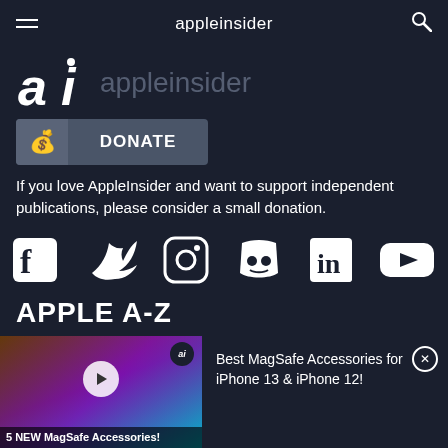appleinsider
[Figure (logo): AppleInsider 'ai' logo with dot and full wordmark in gray]
[Figure (other): DONATE button with money bag icon]
If you love AppleInsider and want to support independent publications, please consider a small donation.
[Figure (other): Social media icons row: Facebook, Twitter, Instagram, Discord, LinkedIn, YouTube]
APPLE A-Z
[Figure (screenshot): Video thumbnail showing person holding iPhone with MagSafe case, caption: 5 NEW MagSafe Accessories!]
Best MagSafe Accessories for iPhone 13 & iPhone 12!